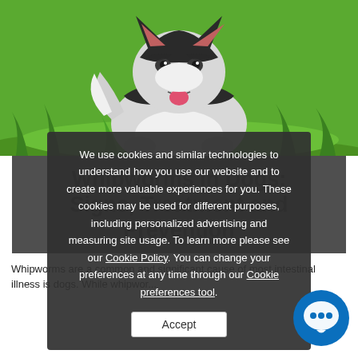[Figure (photo): A Siberian Husky puppy lying on green grass, black and white fur, tongue out, looking at camera]
Whipworms in Dogs: Signs, Treatment and Prevention
[Figure (infographic): Cookie consent overlay with text about cookies and similar technologies, Cookie Policy link, Cookie preferences tool link, and Accept button]
Whipworms are a common and significant cause of most intestinal illness is dogs. While whipworms...